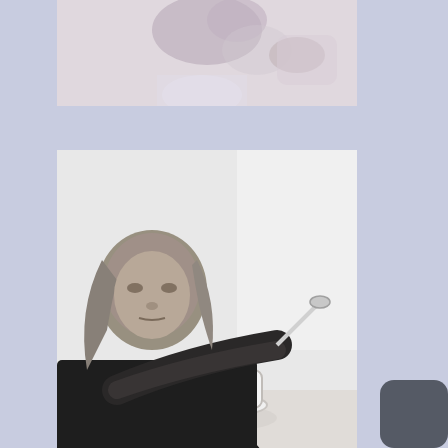[Figure (photo): Partial photo of a person at the top, cropped — only lower face/neck/hands visible, light blurred background]
[Figure (photo): Black and white photo of an older man with long gray hair eating or tasting something from a spoon, with a white cup on the table in front of him]
Ye Dusty Olde Archives
Select Month
Spam be gone
1,985,245 spam blocked by Akismet